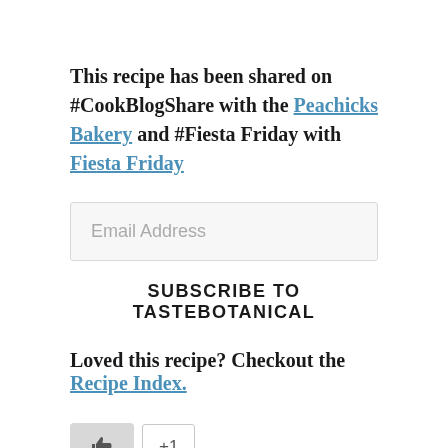This recipe has been shared on #CookBlogShare with the Peachicks Bakery and #Fiesta Friday with Fiesta Friday
[Figure (other): Email address input field with placeholder text 'Email Address']
SUBSCRIBE TO TASTEBOTANICAL
Loved this recipe? Checkout the Recipe Index.
[Figure (other): Like button (thumbs up icon) and +1 button]